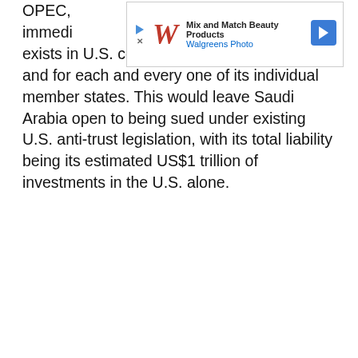OPEC, also immediately presently exists in U.S. courts for OPEC as a group and for each and every one of its individual member states. This would leave Saudi Arabia open to being sued under existing U.S. anti-trust legislation, with its total liability being its estimated US$1 trillion of investments in the U.S. alone.
[Figure (other): Walgreens Photo ad banner: Mix and Match Beauty Products with Walgreens W logo and navigation icon]
By Simon Watkins for Oilprice.com
More Top Reads From Oilprice.com:
Could Brent Crude Oil Prices Ever Fall Into Negative Territory?
Big Oil's Dilemma: Cut Dividends Or Cut Operations
Brent Oil Price Could Double By December
Download The Free Oilprice App Today